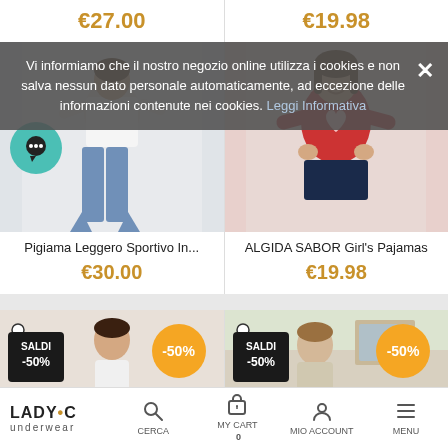€27.00
€19.98
Vi informiamo che il nostro negozio online utilizza i cookies e non salva nessun dato personale automaticamente, ad eccezione delle informazioni contenute nei cookies. Leggi Informativa
[Figure (photo): Woman wearing light top and blue flared jeans, leaning against a white surface. Teal chat bubble icon in the lower left.]
Pigiama Leggero Sportivo In...
€30.00
[Figure (photo): Young woman wearing a red long-sleeve top with a heart logo (Algida/Cornetto branding), dark skirt.]
ALGIDA SABOR Girl's Pajamas
€19.98
[Figure (photo): Woman in white top, sale badge showing SALDI -50%, orange -50% badge.]
[Figure (photo): Woman in casual clothing, sale badge showing SALDI -50%, orange -50% badge.]
LADY•C underwear | CERCA | MY CART 0 | MIO ACCOUNT | MENU